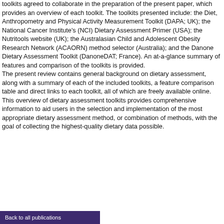toolkits agreed to collaborate in the preparation of the present paper, which provides an overview of each toolkit. The toolkits presented include: the Diet, Anthropometry and Physical Activity Measurement Toolkit (DAPA; UK); the National Cancer Institute's (NCI) Dietary Assessment Primer (USA); the Nutritools website (UK); the Australasian Child and Adolescent Obesity Research Network (ACAORN) method selector (Australia); and the Danone Dietary Assessment Toolkit (DanoneDAT; France). An at-a-glance summary of features and comparison of the toolkits is provided.
The present review contains general background on dietary assessment, along with a summary of each of the included toolkits, a feature comparison table and direct links to each toolkit, all of which are freely available online.
This overview of dietary assessment toolkits provides comprehensive information to aid users in the selection and implementation of the most appropriate dietary assessment method, or combination of methods, with the goal of collecting the highest-quality dietary data possible.
Back to all publications